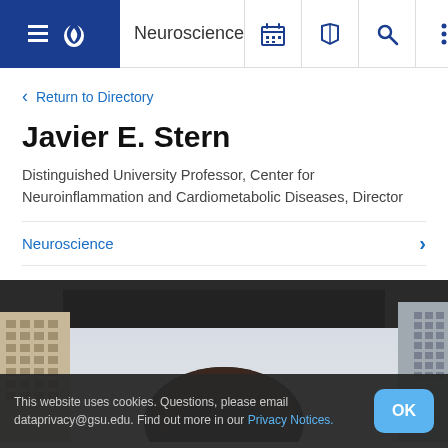Neuroscience
Return to Directory
Javier E. Stern
Distinguished University Professor, Center for Neuroinflammation and Cardiometabolic Diseases, Director
Neuroscience
[Figure (photo): Photo of Javier E. Stern outdoors with buildings in background, shot from below]
This website uses cookies. Questions, please email dataprivacy@gsu.edu. Find out more in our Privacy Notices.